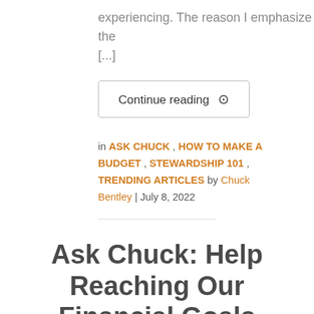experiencing. The reason I emphasize the [...]
Continue reading →
in ASK CHUCK , HOW TO MAKE A BUDGET , STEWARDSHIP 101 , TRENDING ARTICLES by Chuck Bentley | July 8, 2022
Ask Chuck: Help Reaching Our Financial Goals Together